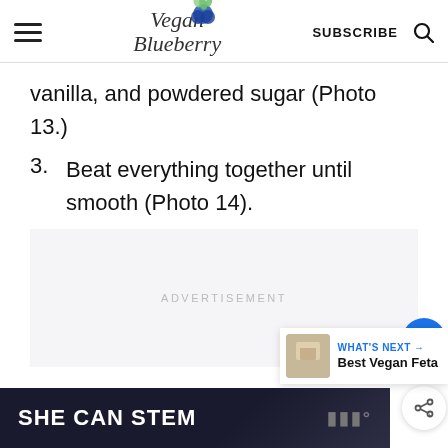Vegan Blueberry | SUBSCRIBE
vanilla, and powdered sugar (Photo 13.)
3. Beat everything together until smooth (Photo 14).
[Figure (other): Advertisement placeholder block]
[Figure (other): What's Next panel: Best Vegan Feta]
[Figure (other): Bottom advertisement: SHE CAN STEM]